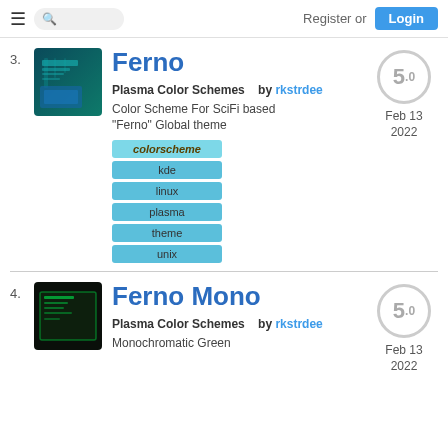Register or Login
3. Ferno - Plasma Color Schemes by rkstrdee - Color Scheme For SciFi based "Ferno" Global theme - Tags: colorscheme, kde, linux, plasma, theme, unix - Rating: 5.0 - Feb 13 2022
4. Ferno Mono - Plasma Color Schemes by rkstrdee - Monochromatic Green - Rating: 5.0 - Feb 13 2022